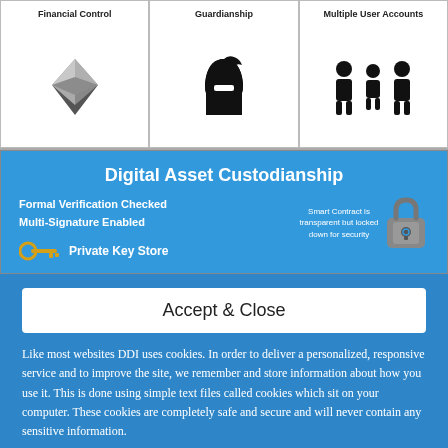[Figure (infographic): Three panel infographic showing Financial Control (Ethereum diamond logo), Guardianship (Spartan helmet icon), and Multiple User Accounts (three person icons)]
[Figure (infographic): Blue banner showing Digital Asset Custodianship with text: Formal Verification Checked, Multi-Signature Enabled, a padlock icon with smart contract description, and a Private Key Store row with golden key icon]
Accept & Close
Like most websites DDI uses cookies. In order to deliver a personalized, responsive service and to improve the site, we remember and store information about how you use it. This is done using simple text files called cookies which sit on your computer. These cookies are completely safe and secure and will never contain any sensitive information.